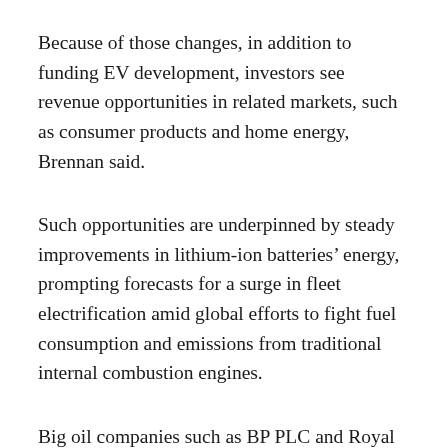Because of those changes, in addition to funding EV development, investors see revenue opportunities in related markets, such as consumer products and home energy, Brennan said.
Such opportunities are underpinned by steady improvements in lithium-ion batteries’ energy, prompting forecasts for a surge in fleet electrification amid global efforts to fight fuel consumption and emissions from traditional internal combustion engines.
Big oil companies such as BP PLC and Royal Dutch Shell PLC see EV-related investments partly as a hedge